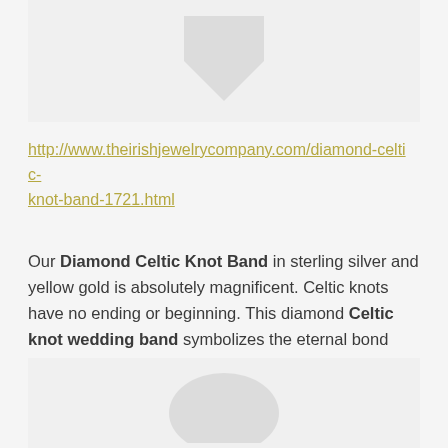[Figure (photo): Top portion of a product image showing a diamond Celtic knot band, partially visible with a watermark/placeholder graphic.]
http://www.theirishjewelrycompany.com/diamond-celtic-knot-band-1721.html
Our Diamond Celtic Knot Band in sterling silver and yellow gold is absolutely magnificent. Celtic knots have no ending or beginning. This diamond Celtic knot wedding band symbolizes the eternal bond between man and woman.
[Figure (photo): Bottom portion of a product image showing a diamond Celtic knot band, partially visible with a watermark/placeholder graphic.]